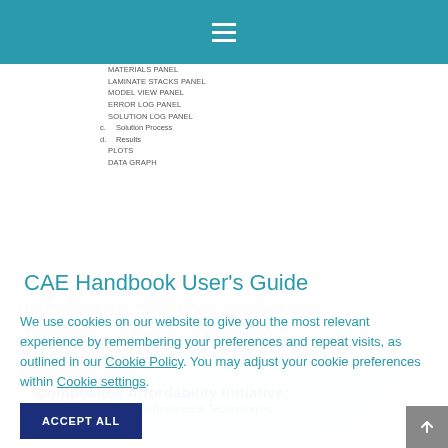Navigation menu (hamburger icon)
Materials Panel
Laminate Stacks Panel
Model View Panel
Error Log Panel
Solution Log Panel
c. Solution Process
d. Results
Plots
Data Graph
CAE Handbook User's Guide
CAE Handbook, StressCheck Powered Apps
[Figure (illustration): Composites Affordability Initiative: Transitioning Advanced Aerospace Technologies banner image with text overlaid on aerospace material background]
We use cookies on our website to give you the most relevant experience by remembering your preferences and repeat visits, as outlined in our Cookie Policy. You may adjust your cookie preferences within Cookie settings.
ACCEPT ALL